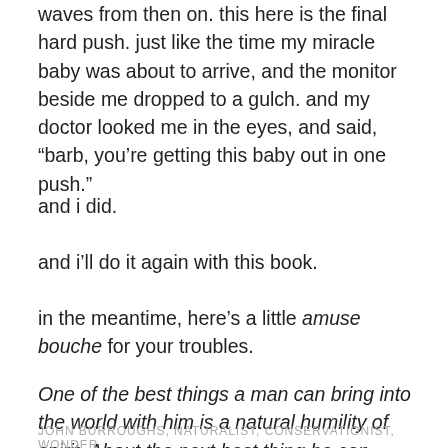waves from then on. this here is the final hard push. just like the time my miracle baby was about to arrive, and the monitor beside me dropped to a gulch. and my doctor looked me in the eyes, and said, “barb, you’re getting this baby out in one push.”
and i did.
and i’ll do it again with this book.
in the meantime, here’s a little amuse bouche for your troubles.
One of the best things a man can bring into the world with him is a natural humility of spirit. About the next best thing he can bring, and they usually go together, is an appreciative spirit — a loving and susceptible heart.
JOHN BURROUGHS, NATURALIST, CONSERVATIONIST, WONDER